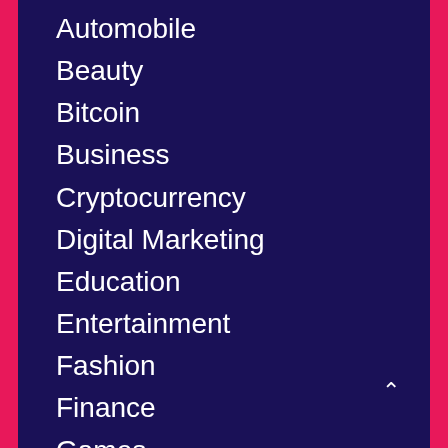Automobile
Beauty
Bitcoin
Business
Cryptocurrency
Digital Marketing
Education
Entertainment
Fashion
Finance
Games
General
Health
Home
Insurance
Internet Marketing